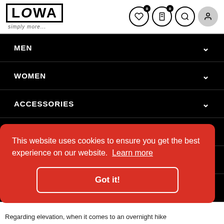[Figure (logo): LOWA logo with 'simply more...' tagline and navigation icons (heart, bag, search, user) with badge counts 0]
MEN
WOMEN
ACCESSORIES
SALE
LOVE LOWA
STOCKISTS
This website uses cookies to ensure you get the best experience on our website. Learn more
Got it!
Regarding elevation, when it comes to an overnight hike